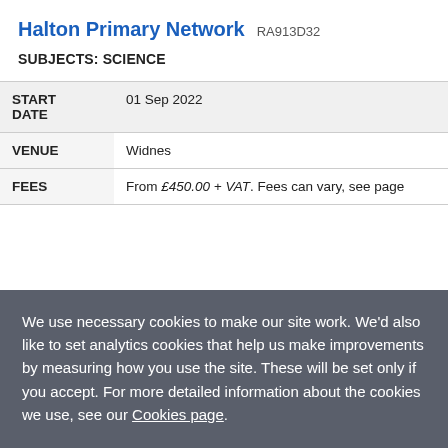Halton Primary Network  RA913D32
SUBJECTS: SCIENCE
| START DATE | 01 Sep 2022 |
| VENUE | Widnes |
| FEES | From £450.00 + VAT. Fees can vary, see page |
We use necessary cookies to make our site work. We'd also like to set analytics cookies that help us make improvements by measuring how you use the site. These will be set only if you accept. For more detailed information about the cookies we use, see our Cookies page.